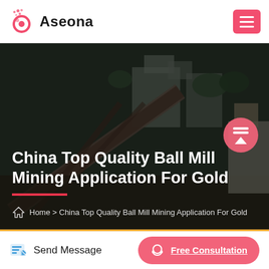Aseona
[Figure (photo): Industrial mining facility with conveyor belts and equipment on a hillside, dark overlay]
China Top Quality Ball Mill Mining Application For Gold
Home > China Top Quality Ball Mill Mining Application For Gold
Send Message
Free Consultation